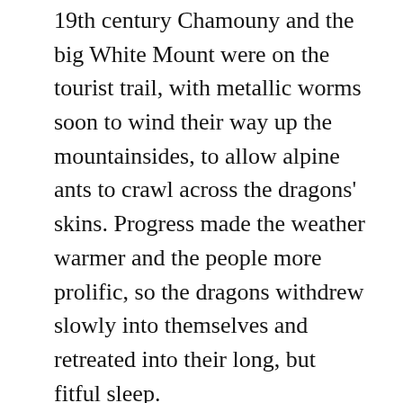19th century Chamouny and the big White Mount were on the tourist trail, with metallic worms soon to wind their way up the mountainsides, to allow alpine ants to crawl across the dragons' skins. Progress made the weather warmer and the people more prolific, so the dragons withdrew slowly into themselves and retreated into their long, but fitful sleep.
The last 100 years have seen city elephants join the alpine ants in their exploration of the sleeping ice dragons. In the crucible of developmental progress, environmental forces were smelted to make the prolific peoples evermore controlling and global warming increased with pollution as a side effect. The ice...